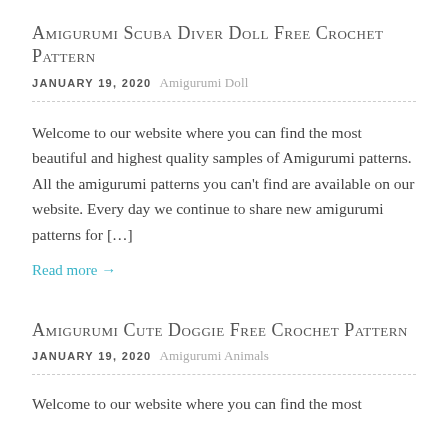Amigurumi Scuba Diver Doll Free Crochet Pattern
JANUARY 19, 2020   Amigurumi Doll
Welcome to our website where you can find the most beautiful and highest quality samples of Amigurumi patterns. All the amigurumi patterns you can't find are available on our website. Every day we continue to share new amigurumi patterns for [...]
Read more →
Amigurumi Cute Doggie Free Crochet Pattern
JANUARY 19, 2020   Amigurumi Animals
Welcome to our website where you can find the most